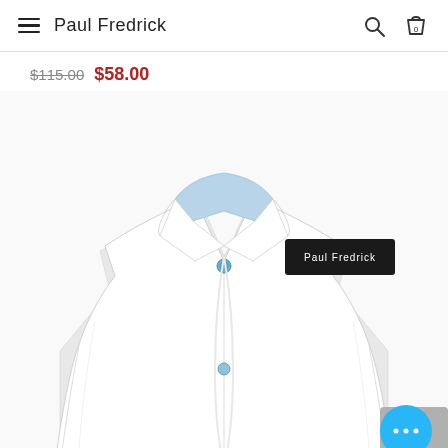Paul Fredrick
$115.00  $58.00
[Figure (photo): A folded white dress shirt with a light blue collar lining and a black label reading 'Paul Fredrick', displayed on a white background. Blue buttons visible at collar area.]